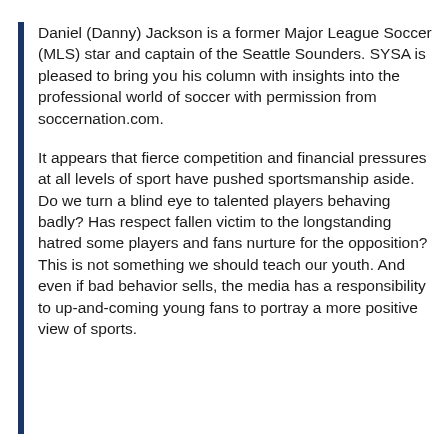Daniel (Danny) Jackson is a former Major League Soccer (MLS) star and captain of the Seattle Sounders. SYSA is pleased to bring you his column with insights into the professional world of soccer with permission from soccernation.com.
It appears that fierce competition and financial pressures at all levels of sport have pushed sportsmanship aside. Do we turn a blind eye to talented players behaving badly? Has respect fallen victim to the longstanding hatred some players and fans nurture for the opposition? This is not something we should teach our youth. And even if bad behavior sells, the media has a responsibility to up-and-coming young fans to portray a more positive view of sports.